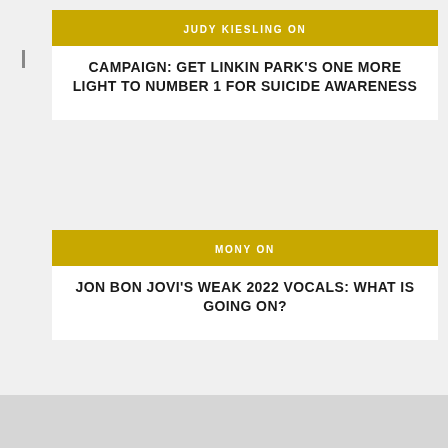JUDY KIESLING ON
CAMPAIGN: GET LINKIN PARK'S ONE MORE LIGHT TO NUMBER 1 FOR SUICIDE AWARENESS
MONY ON
JON BON JOVI'S WEAK 2022 VOCALS: WHAT IS GOING ON?
MONY ON
JON BON JOVI'S WEAK 2022 VOCALS: WHAT IS GOING ON?